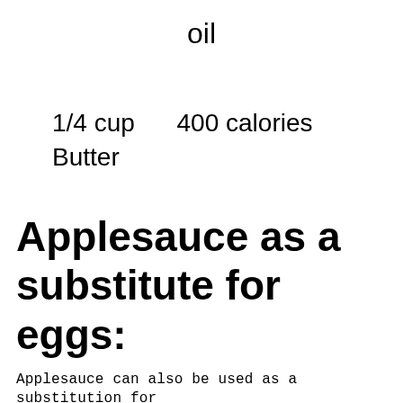oil
1/4 cup      400 calories
Butter
Applesauce as a substitute for eggs:
Applesauce can also be used as a substitution for